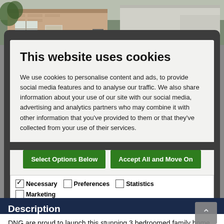[Figure (photo): Photograph of a residential building facade, brick and white rendered exterior, partially obscured by cookie consent modal overlay]
This website uses cookies
We use cookies to personalise content and ads, to provide social media features and to analyse our traffic. We also share information about your use of our site with our social media, advertising and analytics partners who may combine it with other information that you've provided to them or that they've collected from your use of their services.
Select Options Below
Accept All and Move On
✓ Necessary   ☐ Preferences   ☐ Statistics   ☐ Marketing   Show details ∨
Description
DNG are proud to launch this stunning 3 bedroomed family home of c.106 sq.m./ 1,141 sq. ft. with large garage and corner site. The property comes to the market in superb condition. The current